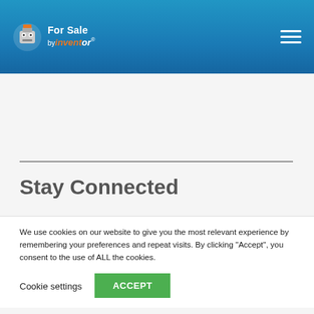For Sale by Inventor® — navigation header with logo and hamburger menu
Stay Connected
Subscribe to our newsletter for the latest updates.
We use cookies on our website to give you the most relevant experience by remembering your preferences and repeat visits. By clicking “Accept”, you consent to the use of ALL the cookies.
Cookie settings   ACCEPT